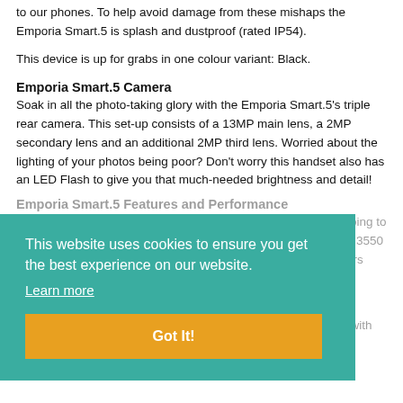to our phones. To help avoid damage from these mishaps the Emporia Smart.5 is splash and dustproof (rated IP54).
This device is up for grabs in one colour variant: Black.
Emporia Smart.5 Camera
Soak in all the photo-taking glory with the Emporia Smart.5's triple rear camera. This set-up consists of a 13MP main lens, a 2MP secondary lens and an additional 2MP third lens. Worried about the lighting of your photos being poor? Don't worry this handset also has an LED Flash to give you that much-needed brightness and detail!
Emporia Smart.5 Features and Performance
The days of panicking about whether your phone's battery is going to die or not are finally over. The Emporia Smart.5 has a powerful 3550 mAh battery which can conveniently last up to a total of 24 hours even with intensive use.
This handset's 4G compatibility and Octa-core processor is a powerful duo that aims to give users a seamless performance with every use.
[Figure (screenshot): Cookie consent overlay with teal background. Text: 'This website uses cookies to ensure you get the best experience on our website.' with 'Learn more' link, and an orange 'Got It!' button.]